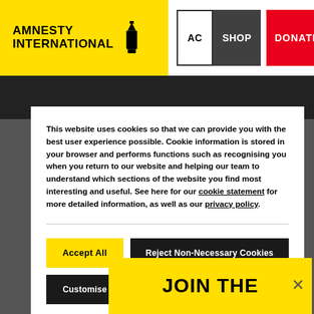AMNESTY INTERNATIONAL — navigation bar with SHOP and DONATE buttons
This website uses cookies so that we can provide you with the best user experience possible. Cookie information is stored in your browser and performs functions such as recognising you when you return to our website and helping our team to understand which sections of the website you find most interesting and useful. See here for our cookie statement for more detailed information, as well as our privacy policy.
Accept All
Reject Non-Necessary Cookies
Customise
applies to an organisation which is a body for the promotion of the observance of the universal ... conventions ...
JOIN THE